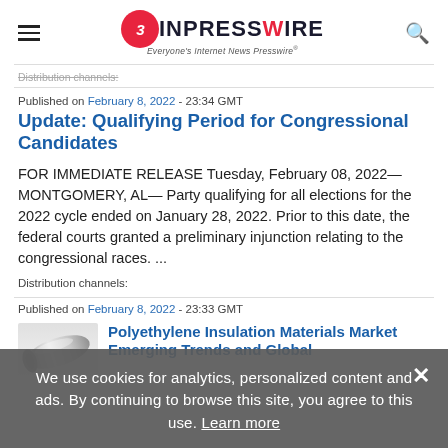EIN PRESSWIRE — Everyone's Internet News Presswire
Distribution channels:
Published on February 8, 2022 - 23:34 GMT
Update: Qualifying Period for Congressional Candidates
FOR IMMEDIATE RELEASE Tuesday, February 08, 2022—MONTGOMERY, AL— Party qualifying for all elections for the 2022 cycle ended on January 28, 2022. Prior to this date, the federal courts granted a preliminary injunction relating to the congressional races. ...
Distribution channels:
Published on February 8, 2022 - 23:33 GMT
[Figure (photo): Gray cylindrical insulation material product photo]
Polyethylene Insulation Materials Market Emerging Trends and Global
We use cookies for analytics, personalized content and ads. By continuing to browse this site, you agree to this use. Learn more